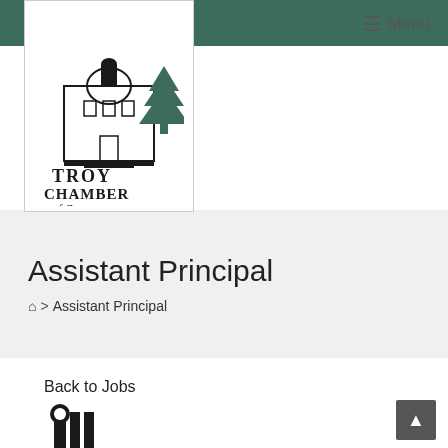[Figure (logo): Troy Chamber of Commerce logo showing a building with a pine tree and the text 'Troy Chamber of Commerce']
☰  Menu
Assistant Principal
⌂ > Assistant Principal
Back to Jobs